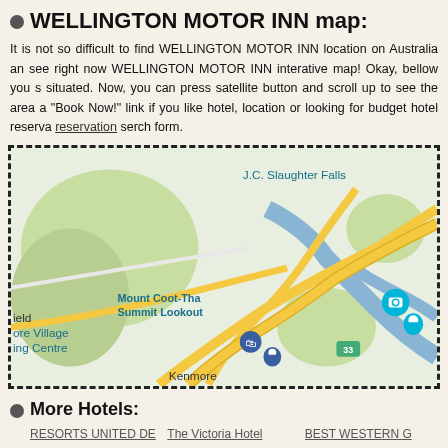WELLINGTON MOTOR INN map:
It is not so difficult to find WELLINGTON MOTOR INN location on Australia and see right now WELLINGTON MOTOR INN interative map! Okay, bellow you s situated. Now, you can press satellite button and scroll up to see the area a "Book Now!" link if you like hotel, location or looking for budget hotel reserva reservation serch form.
[Figure (map): Google map showing Brisbane area including J.C. Slaughter Falls, Mount Coot-Tha Summit Lookout, Toowong, West End, Woolloongabba, The University of Queensland, Indooroopilly, Kenmore, Greenslopes Private Hospital, and Fortitude Valley. A red H marker is visible indicating the hotel location.]
More Hotels:
RESORTS UNITED DE
The Victoria Hotel
BEST WESTERN G
BreakFree Grand Pacifi
Quest Dandenong servi
BW TROPICAL WA
MANTRA ON THE INLE
Villa San Michele
BREAKFREE AANU
Medina Grand Harbours
Hotel Causeway
BEST WESTERN M